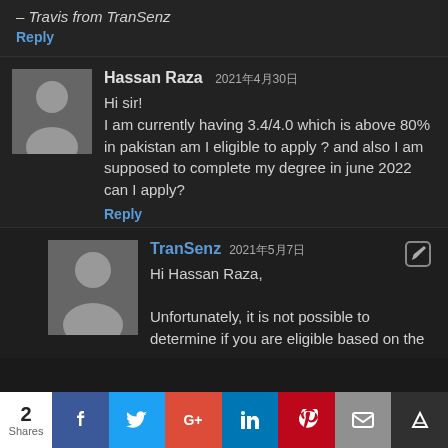– Travis from TranSenz
Reply
Hassan Raza 2021年4月30日
Hi sir!
I am currently having 3.4/4.0 which is above 80% in pakistan am I eligible to apply ? and also I am supposed to complete my degree in june 2022 can I apply?
Reply
TranSenz 2021年5月7日
Hi Hassan Raza,

Unfortunately, it is not possible to determine if you are eligible based on the
2 Shares | Facebook | Twitter | Google+ | LinkedIn | Pinterest | Email | Bookmark